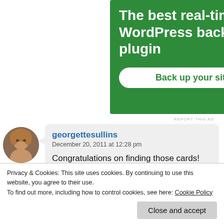[Figure (screenshot): Green advertisement banner for a WordPress backup plugin with title 'The best real-time WordPress backup plugin' and a white button labeled 'Back up your site']
REPORT THIS AD
georgettesullins
December 20, 2011 at 12:28 pm

Congratulations on finding those cards! What a shame if you had discovered them after this month. I'm intrigued. Those must be special
Privacy & Cookies: This site uses cookies. By continuing to use this website, you agree to their use.
To find out more, including how to control cookies, see here: Cookie Policy
Close and accept